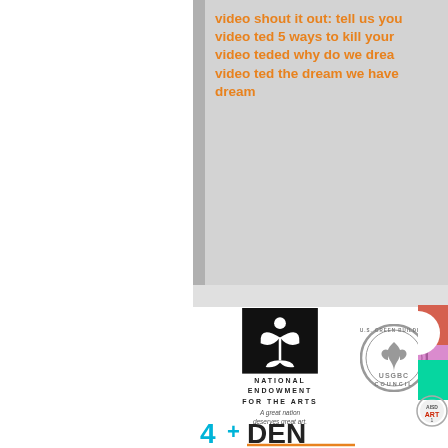video shout it out: tell us you video ted 5 ways to kill your video teded why do we drea video ted the dream we have dream
[Figure (logo): National Endowment for the Arts logo - black square with white plant/human figure, text NATIONAL ENDOWMENT FOR THE ARTS, tagline A great nation deserves great art.]
[Figure (logo): U.S. Green Building Council USGBC circular seal logo in gray]
[Figure (logo): Colorful partial logo with yellow, magenta/purple on right edge]
[Figure (logo): AISD Art 1 badge/seal in gray and red]
[Figure (logo): 4+DEN partial logo text in cyan/teal and orange at bottom]